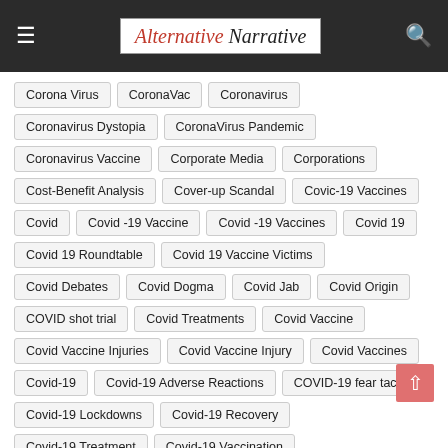Alternative Narrative
Corona Virus
CoronaVac
Coronavirus
Coronavirus Dystopia
CoronaVirus Pandemic
Coronavirus Vaccine
Corporate Media
Corporations
Cost-Benefit Analysis
Cover-up Scandal
Covic-19 Vaccines
Covid
Covid -19 Vaccine
Covid -19 Vaccines
Covid 19
Covid 19 Roundtable
Covid 19 Vaccine Victims
Covid Debates
Covid Dogma
Covid Jab
Covid Origin
COVID shot trial
Covid Treatments
Covid Vaccine
Covid Vaccine Injuries
Covid Vaccine Injury
Covid Vaccines
Covid-19
Covid-19 Adverse Reactions
COVID-19 fear tactics
Covid-19 Lockdowns
Covid-19 Recovery
Covid-19 Treatment
Covid-19 Vaccination
Covid-19 vaccination program
Covid-19 Vaccine